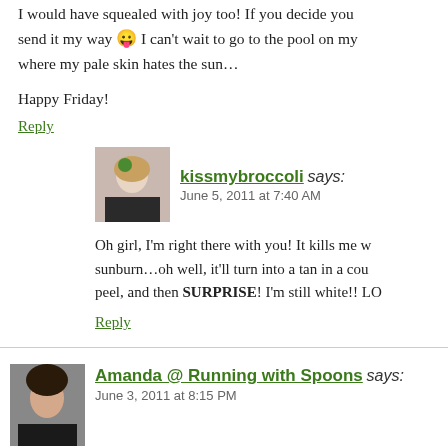I would have squealed with joy too! If you decide you send it my way 😛 I can't wait to go to the pool on my where my pale skin hates the sun…
Happy Friday!
Reply
kissmybroccoli says: June 5, 2011 at 7:40 AM
Oh girl, I'm right there with you! It kills me w sunburn…oh well, it'll turn into a tan in a cou peel, and then SURPRISE! I'm still white!! LO
Reply
Amanda @ Running with Spoons says: June 3, 2011 at 8:15 PM